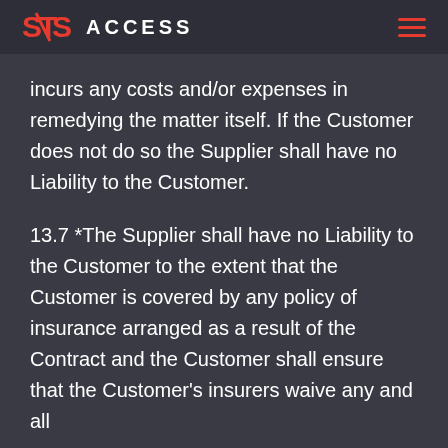STS ACCESS
incurs any costs and/or expenses in remedying the matter itself. If the Customer does not do so the Supplier shall have no Liability to the Customer.
13.7 *The Supplier shall have no Liability to the Customer to the extent that the Customer is covered by any policy of insurance arranged as a result of the Contract and the Customer shall ensure that the Customer's insurers waive any and all rights of subrogation they may have